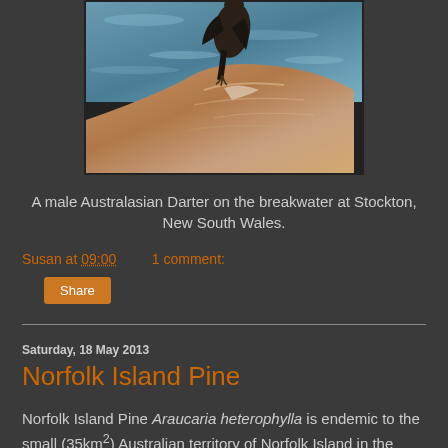[Figure (photo): A bird (Australasian Darter) perched on a rock near water at Stockton, New South Wales.]
A male Australasian Darter on the breakwater at Stockton, New South Wales.
Susan at 09:00    1 comment:
Share
Saturday, 18 May 2013
Norfolk Island Pine
Norfolk Island Pine Araucaria heterophylla is endemic to the small (35km²) Australian territory of Norfolk Island in the